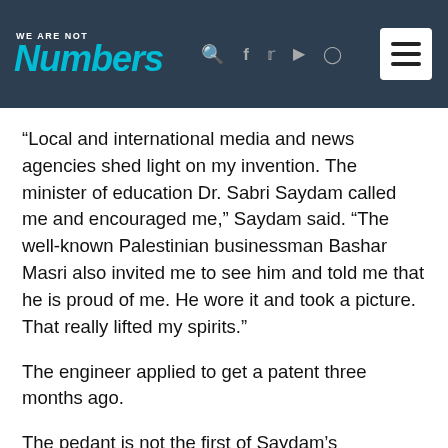WE ARE NOT Numbers
“Local and international media and news agencies shed light on my invention. The minister of education Dr. Sabri Saydam called me and encouraged me,” Saydam said. “The well-known Palestinian businessman Bashar Masri also invited me to see him and told me that he is proud of me. He wore it and took a picture. That really lifted my spirits.”
The engineer applied to get a patent three months ago.
The pedant is not the first of Saydam’s inventions. Three years ago, he made a smart stick for the blind that gives voice commands to help them reach a certain place. He also made a small robot to sanitize quarantine rooms last year, but he has not received any official government sponsorship. “They do not care about inventions,” he said